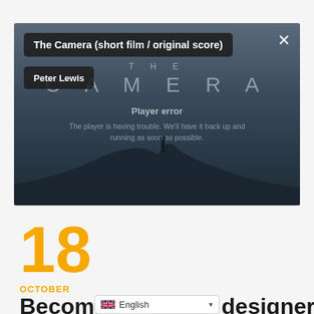[Figure (screenshot): Video player showing 'The Camera (short film / original score)' by Peter Lewis with a player error message. Background shows a misty hill silhouette with 'THE CAMERA' text overlay. Title bar at top-left says 'The Camera (short film / original score)', author tag 'Peter Lewis' below it, close button (X) at top-right. Player error text reads 'The player is having trouble. We'll have it back up and running as soon as possible.']
18
OCTOBER
Becoming a better designer